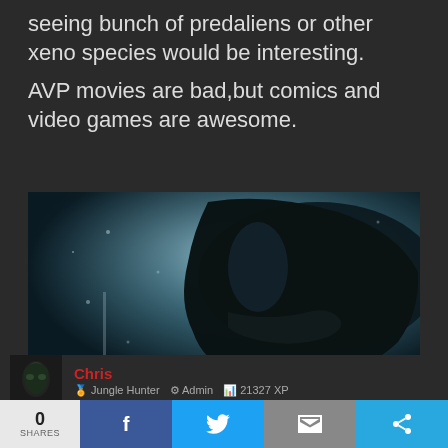seeing bunch of predaliens or other xeno species would be interesting.
AVP movies are bad,but comics and video games are awesome.
[Figure (photo): Close-up dark cinematic image of an alien creature head, likely a xenomorph from the Alien franchise, with a dark background and bluish atmospheric lighting.]
Chris — Jungle Hunter | Admin | 21327 XP
0 SHARES | Facebook share | Twitter share | Email share | More share options